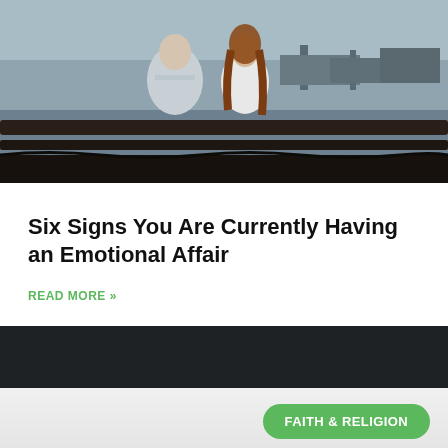[Figure (photo): Two people seen from behind sitting on a bench near waterfront with ships/harbor in background]
Six Signs You Are Currently Having an Emotional Affair
READ MORE »
[Figure (other): Dark bar / divider section]
FAITH & RELIGION